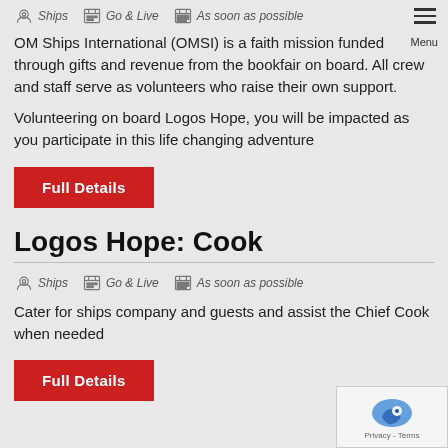Ships  Go & Live  As soon as possible
OM Ships International (OMSI) is a faith mission funded through gifts and revenue from the bookfair on board. All crew and staff serve as volunteers who raise their own support.
Volunteering on board Logos Hope, you will be impacted as you participate in this life changing adventure
Full Details
Logos Hope: Cook
Ships  Go & Live  As soon as possible
Cater for ships company and guests and assist the Chief Cook when needed
Full Details